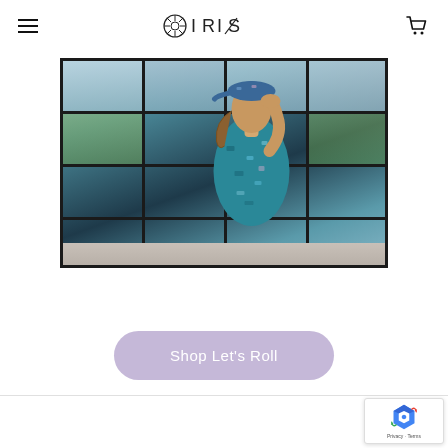☰ IRIS 🛒
[Figure (photo): Woman wearing a patterned teal/blue cap and matching patterned short-sleeve polo shirt, viewed from behind/side, looking out through large industrial-style windows with a city/greenery view outside. She has a ponytail and is shading her eyes with one hand.]
Shop Let's Roll